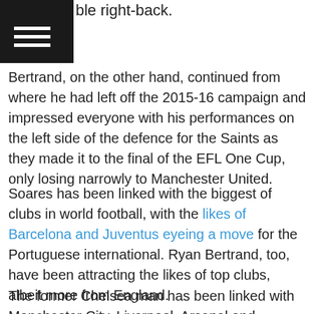ble right-back.
Bertrand, on the other hand, continued from where he had left off the 2015-16 campaign and impressed everyone with his performances on the left side of the defence for the Saints as they made it to the final of the EFL One Cup, only losing narrowly to Manchester United.
Soares has been linked with the biggest of clubs in world football, with the likes of Barcelona and Juventus eyeing a move for the Portuguese international. Ryan Bertrand, too, have been attracting the likes of top clubs, albeit more from England.
The former Chelsea man has been linked with Manchester City, Liverpool, Arsenal and Chelsea. And, it seems the Blues' failure in their pursuit of other targets have lead them to reignite interest in the 27-year-old, along with eyeing a move for his partner-in-crime on the other side of the defence.